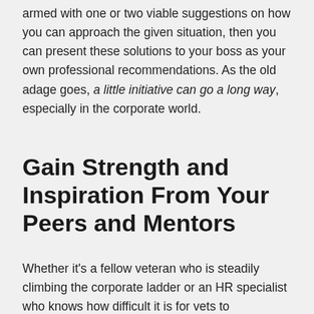armed with one or two viable suggestions on how you can approach the given situation, then you can present these solutions to your boss as your own professional recommendations. As the old adage goes, a little initiative can go a long way, especially in the corporate world.
Gain Strength and Inspiration From Your Peers and Mentors
Whether it's a fellow veteran who is steadily climbing the corporate ladder or an HR specialist who knows how difficult it is for vets to